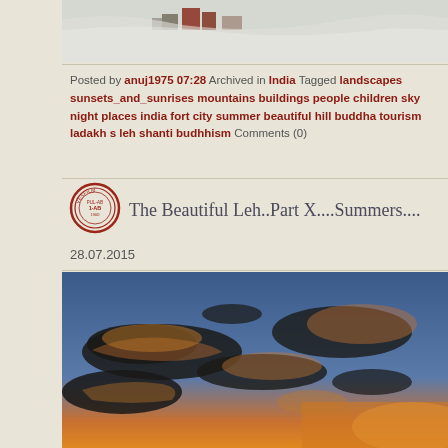[Figure (photo): Aerial winter photo of a town/buildings with snow-covered hills]
Posted by anuj1975 07:28 Archived in India Tagged landscapes sunsets_and_sunrises mountains buildings people children sky night places india fort city summer beautiful hill buddha tourism ladakh s leh shanti budhhism Comments (0)
The Beautiful Leh..Part X....Summers....
28.07.2015
[Figure (photo): Sunset sky photo with dramatic orange-lit clouds against a blue sky]